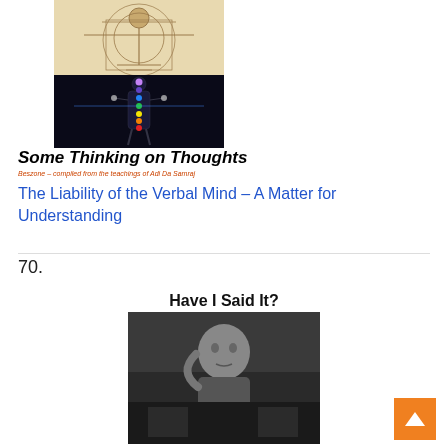[Figure (illustration): Composite image: top half shows Vitruvian Man illustration (Leonardo da Vinci style, sepia toned); bottom half shows a human silhouette with colorful chakra energy points along the spine against a dark background.]
Some Thinking on Thoughts
Beszone – compiled from the teachings of Adi Da Samraj
The Liability of the Verbal Mind – A Matter for Understanding
70.
Have I Said It?
[Figure (photo): Black and white photograph of a person (appears to be a spiritual teacher or speaker) with hand raised to their head in a thoughtful pose, seated in what appears to be a speaking or teaching environment.]